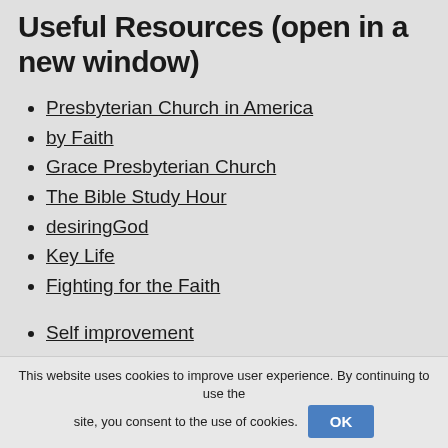Useful Resources (open in a new window)
Presbyterian Church in America
by Faith
Grace Presbyterian Church
The Bible Study Hour
desiringGod
Key Life
Fighting for the Faith
Self improvement
Truth for Life
This website uses cookies to improve user experience. By continuing to use the site, you consent to the use of cookies. OK